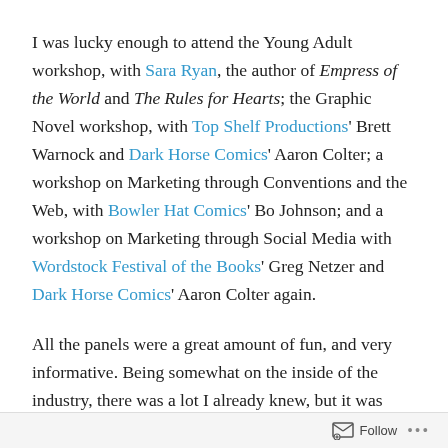I was lucky enough to attend the Young Adult workshop, with Sara Ryan, the author of Empress of the World and The Rules for Hearts; the Graphic Novel workshop, with Top Shelf Productions' Brett Warnock and Dark Horse Comics' Aaron Colter; a  workshop on Marketing through Conventions and the Web, with Bowler Hat Comics' Bo Johnson; and a workshop on Marketing through Social Media with Wordstock Festival of the Books' Greg Netzer and Dark Horse Comics' Aaron Colter again.
All the panels were a great amount of fun, and very informative. Being somewhat on the inside of the industry, there was a lot I already knew, but it was interesting to see things presented with the writer perspective in mind, not the editor. I was able to step back, and be a writer again
Follow